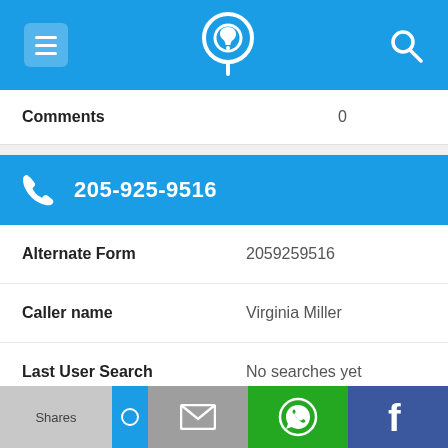App header with menu, phone lookup logo, and search icon
| Field | Value |
| --- | --- |
| Comments | 0 |
205-925-9516
| Field | Value |
| --- | --- |
| Alternate Form | 2059259516 |
| Caller name | Virginia Miller |
| Last User Search | No searches yet |
| Comments | 0 |
Shares | email | WhatsApp | Facebook